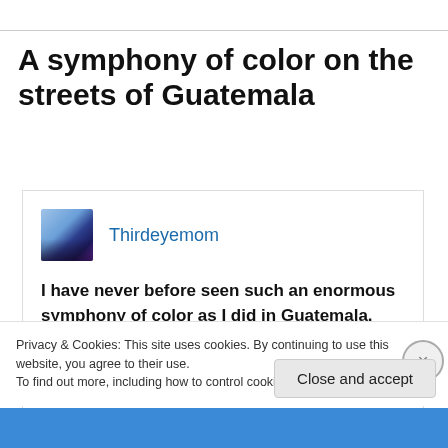A symphony of color on the streets of Guatemala
Thirdeyemom
I have never before seen such an enormous symphony of color as I did in Guatemala. The past Spanish colonial influence combined with the
Privacy & Cookies: This site uses cookies. By continuing to use this website, you agree to their use.
To find out more, including how to control cookies, see here: Cookie Policy
Close and accept